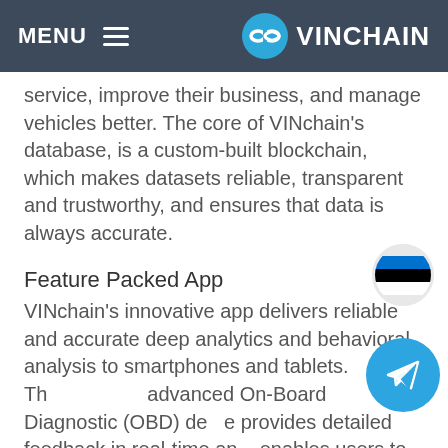MENU  VINCHAIN
service, improve their business, and manage vehicles better. The core of VINchain's database, is a custom-built blockchain, which makes datasets reliable, transparent and trustworthy, and ensures that data is always accurate.
Feature Packed App
VINchain's innovative app delivers reliable and accurate deep analytics and behavioral analysis to smartphones and tablets. The advanced On-Board Diagnostic (OBD) device provides detailed feedback in real-time and enables users to monitor the health of their vehicles or fleet. Paired with the OBD, the app creates a robust and reliable ecosystem